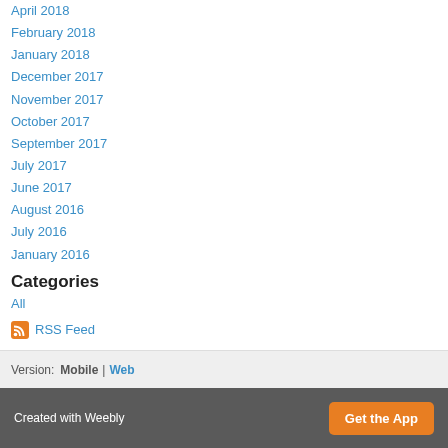April 2018
February 2018
January 2018
December 2017
November 2017
October 2017
September 2017
July 2017
June 2017
August 2016
July 2016
January 2016
Categories
All
RSS Feed
Version:  Mobile  |  Web
Created with Weebly   Get the App